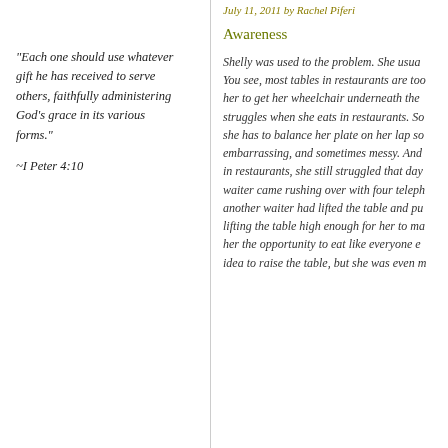"Each one should use whatever gift he has received to serve others, faithfully administering God's grace in its various forms."
~I Peter 4:10
July 11, 2011 by Rachel Piferi
Awareness
Shelly was used to the problem. She usua... You see, most tables in restaurants are too... her to get her wheelchair underneath the... struggles when she eats in restaurants. So... she has to balance her plate on her lap so... embarrassing, and sometimes messy. And... in restaurants, she still struggled that day... waiter came rushing over with four teleph... another waiter had lifted the table and pu... lifting the table high enough for her to ma... her the opportunity to eat like everyone e... idea to raise the table, but she was even m...